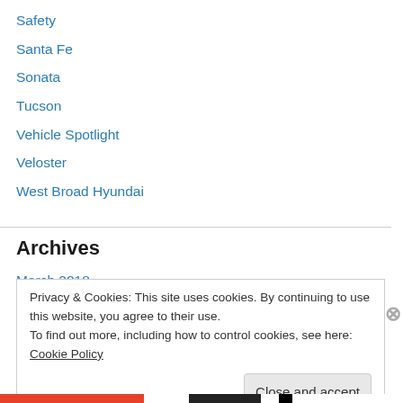Safety
Santa Fe
Sonata
Tucson
Vehicle Spotlight
Veloster
West Broad Hyundai
Archives
March 2018
December 2017
Privacy & Cookies: This site uses cookies. By continuing to use this website, you agree to their use.
To find out more, including how to control cookies, see here: Cookie Policy
Close and accept